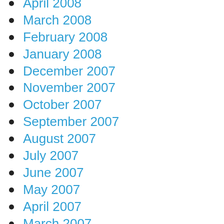April 2008
March 2008
February 2008
January 2008
December 2007
November 2007
October 2007
September 2007
August 2007
July 2007
June 2007
May 2007
April 2007
March 2007
February 2007
January 2007
December 2006